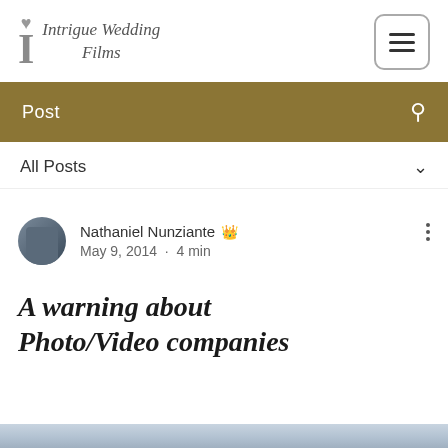[Figure (logo): Intrigue Wedding Films logo with stylized I and heart]
Post
All Posts
Nathaniel Nunziante Admin
May 9, 2014 · 4 min
A warning about Photo/Video companies
[Figure (photo): Partial photo strip at bottom of page, blurred blue-grey tones]